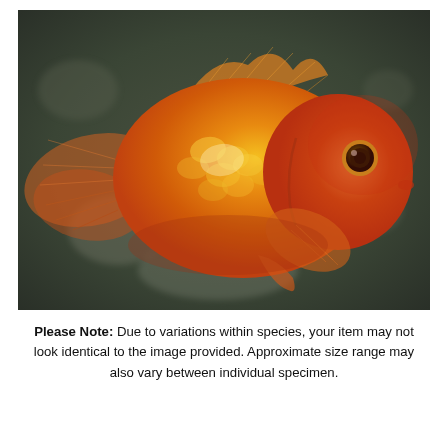[Figure (photo): Close-up photograph of a bright orange and gold fancy goldfish (likely a Ryukin or Oranda variety) swimming against a dark blurred aquatic background. The fish has flowing fins, prominent scales with golden sheen, and a visible black eye.]
Please Note: Due to variations within species, your item may not look identical to the image provided. Approximate size range may also vary between individual specimen.